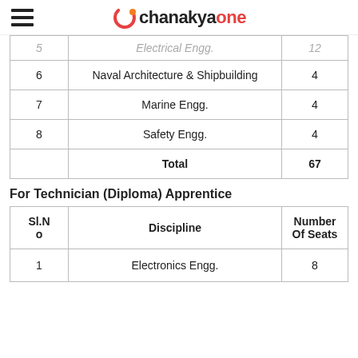chanakyaone
| Sl.No | Discipline | Number Of Seats |
| --- | --- | --- |
| 5 | Electrical Engg. | 12 |
| 6 | Naval Architecture & Shipbuilding | 4 |
| 7 | Marine Engg. | 4 |
| 8 | Safety Engg. | 4 |
|  | Total | 67 |
For Technician (Diploma) Apprentice
| Sl.No | Discipline | Number Of Seats |
| --- | --- | --- |
| 1 | Electronics Engg. | 8 |